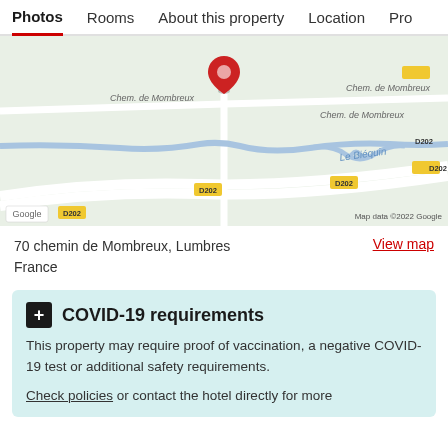Photos  Rooms  About this property  Location  Pro
[Figure (map): Google Maps view showing the location of a property near Chemin de Mombreux in Lumbres, France. A red pin marker is placed on Chem. de Mombreux. A river labeled Le Biéquin is visible. Road labeled D202 runs across the map. Google and Map data ©2022 Google labels shown.]
70 chemin de Mombreux, Lumbres
France
View map
COVID-19 requirements
This property may require proof of vaccination, a negative COVID-19 test or additional safety requirements.
Check policies or contact the hotel directly for more